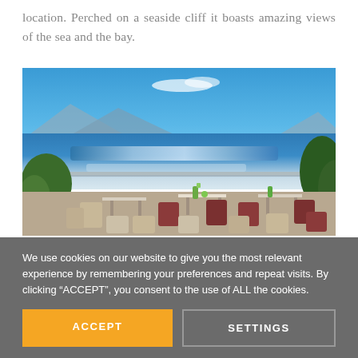location. Perched on a seaside cliff it boasts amazing views of the sea and the bay.
[Figure (photo): Outdoor seaside restaurant terrace with tables and chairs overlooking a shimmering blue sea with mountains in the background under a clear blue sky.]
We use cookies on our website to give you the most relevant experience by remembering your preferences and repeat visits. By clicking “ACCEPT”, you consent to the use of ALL the cookies.
ACCEPT
SETTINGS